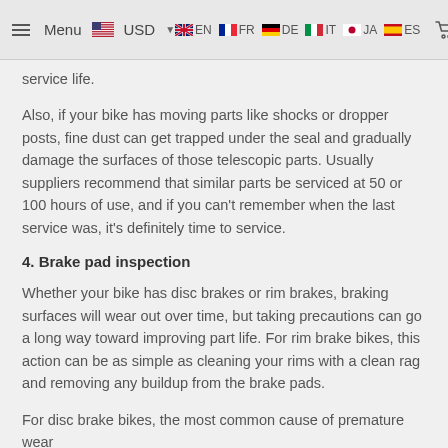Menu USD EN FR DE IT JA ES Cart
service life.
Also, if your bike has moving parts like shocks or dropper posts, fine dust can get trapped under the seal and gradually damage the surfaces of those telescopic parts. Usually suppliers recommend that similar parts be serviced at 50 or 100 hours of use, and if you can't remember when the last service was, it's definitely time to service.
4. Brake pad inspection
Whether your bike has disc brakes or rim brakes, braking surfaces will wear out over time, but taking precautions can go a long way toward improving part life. For rim brake bikes, this action can be as simple as cleaning your rims with a clean rag and removing any buildup from the brake pads.
For disc brake bikes, the most common cause of premature wear